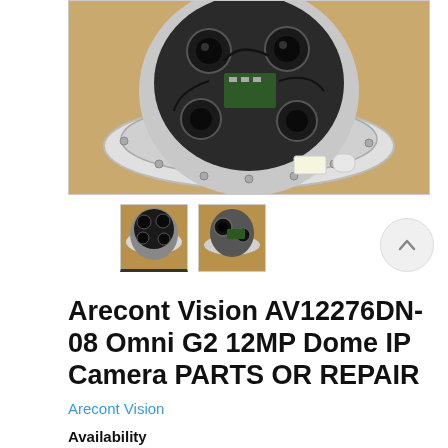[Figure (photo): Top-down view of an Arecont Vision AV12276DN-08 Omni G2 12MP Dome IP Camera opened up showing internal components, circuit boards, and lenses, sitting on a tan/yellow background. The camera's white dome base is visible.]
[Figure (photo): Small thumbnail of the dome camera from above, showing internal components.]
[Figure (photo): Small thumbnail showing a close-up of the camera module from the side.]
Arecont Vision AV12276DN-08 Omni G2 12MP Dome IP Camera PARTS OR REPAIR
Arecont Vision
Availability